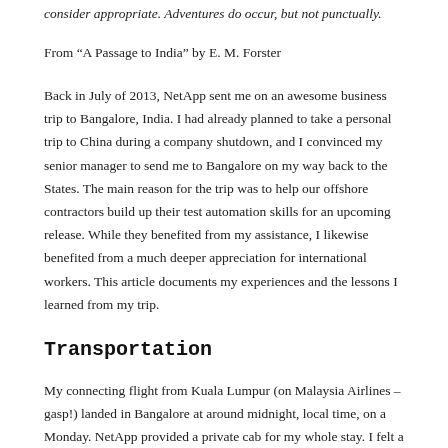consider appropriate. Adventures do occur, but not punctually.
From “A Passage to India” by E. M. Forster
Back in July of 2013, NetApp sent me on an awesome business trip to Bangalore, India. I had already planned to take a personal trip to China during a company shutdown, and I convinced my senior manager to send me to Bangalore on my way back to the States. The main reason for the trip was to help our offshore contractors build up their test automation skills for an upcoming release. While they benefited from my assistance, I likewise benefited from a much deeper appreciation for international workers. This article documents my experiences and the lessons I learned from my trip.
Transportation
My connecting flight from Kuala Lumpur (on Malaysia Airlines – gasp!) landed in Bangalore at around midnight, local time, on a Monday. NetApp provided a private cab for my whole stay. I felt a little bad